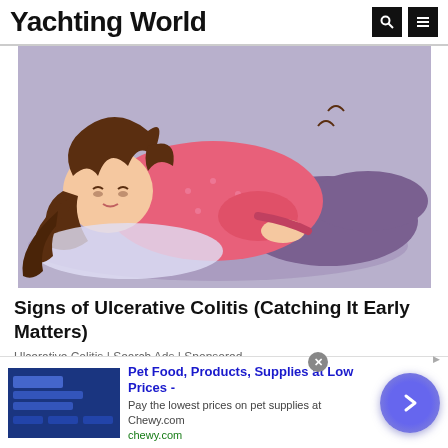Yachting World
[Figure (illustration): Cartoon illustration of a woman lying on her side in pain, wearing a pink polka-dot top and purple pants, holding her stomach area, with wavy black hair, on a light purple/blue background]
Signs of Ulcerative Colitis (Catching It Early Matters)
Ulcerative Colitis | Search Ads | Sponsored
[Figure (photo): Partial photo of a sailboat mast and rigging against a light blue sky]
[Figure (screenshot): Bottom advertisement banner: Pet Food image on left (blue background with product image), text reads 'Pet Food, Products, Supplies at Low Prices - Pay the lowest prices on pet supplies at Chewy.com' with domain chewy.com in green, and a purple arrow circle button on right]